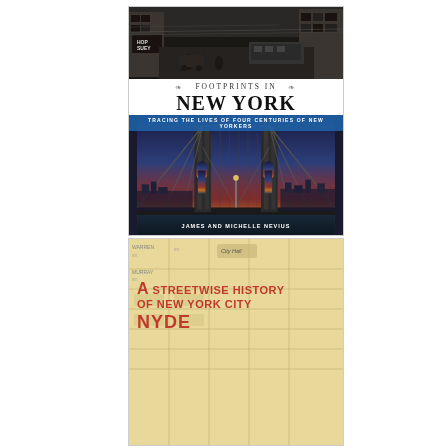[Figure (illustration): Book cover: 'Footprints in New York: Tracing the Lives of Four Centuries of New Yorkers' by James and Michelle Nevius. Top portion shows a vintage black-and-white street scene of New York City. Middle shows the book title with decorative ornaments. Bottom shows a color photo of the Brooklyn Bridge at sunset.]
[Figure (illustration): Partial book cover: 'A Streetwise History of New York City' showing a vintage map background in beige/tan with bold red diagonal title text.]